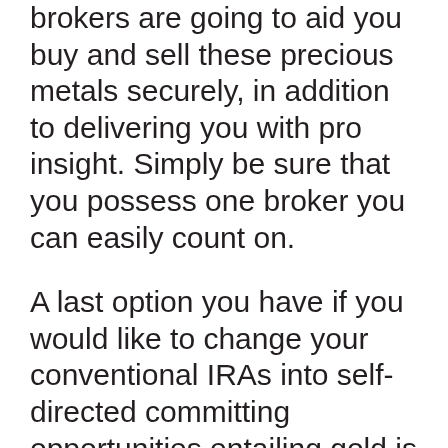brokers are going to aid you buy and sell these precious metals securely, in addition to delivering you with pro insight. Simply be sure that you possess one broker you can easily count on.
A last option you have if you would like to change your conventional IRAs into self-directed committing opportunities entailing gold is actually to rollover your account to a standard individual retirement account and acquisition gold. This alternative is actually not right for every person. The majority of real estate investors find that they simply carry out not possess the moment to partake regular carry overs. Additionally, if the business that you are actually purchasing is actually not trustworthy, you might